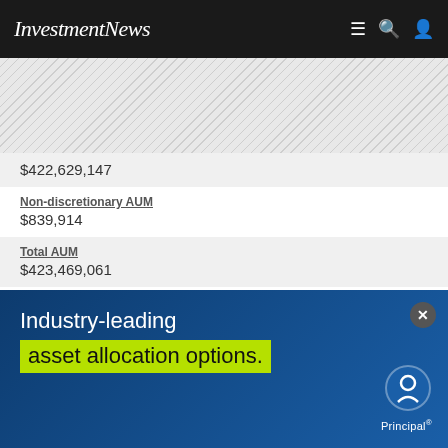InvestmentNews
$422,629,147
Non-discretionary AUM
$839,914
Total AUM
$423,469,061
Rank
23
Business Name
Greenhouse Wealth Management, LLC
[Figure (infographic): Principal advertisement overlay with text 'Industry-leading asset allocation options.' on dark blue gradient background with green highlight and Principal logo]